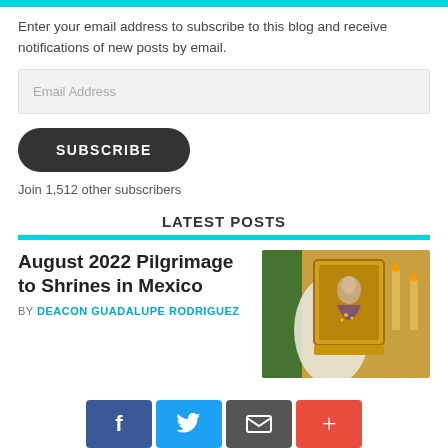Enter your email address to subscribe to this blog and receive notifications of new posts by email.
Email Address
SUBSCRIBE
Join 1,512 other subscribers
LATEST POSTS
August 2022 Pilgrimage to Shrines in Mexico
BY DEACON GUADALUPE RODRIGUEZ
[Figure (photo): Photo of a religious shrine with an image of Our Lady of Guadalupe, green and white decorations, and ornate golden frame]
[Figure (infographic): Social share buttons row: Facebook (blue), Twitter (light blue), Email/share (dark gray), Plus/add (red-orange)]